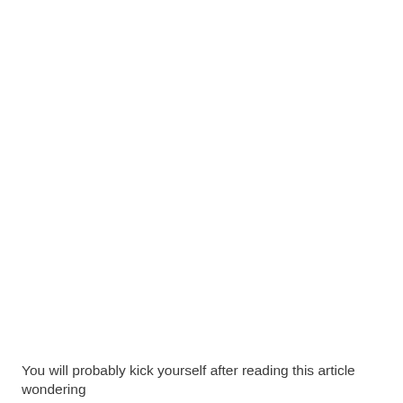You will probably kick yourself after reading this article wondering